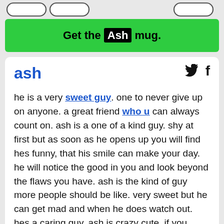[Figure (other): Top navigation area with rounded pill buttons on light gray background, partially visible]
Get the Ash mug.
ash
he is a very sweet guy. one to never give up on anyone. a great friend who u can always count on. ash is a one of a kind guy. shy at first but as soon as he opens up you will find hes funny, that his smile can make your day. he will notice the good in you and look beyond the flaws you have. ash is the kind of guy more people should be like. very sweet but he can get mad and when he does watch out. hes a caring guy. ash is crazy cute. if you have him